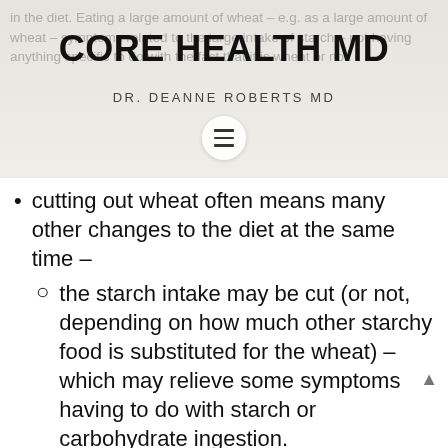CORE HEALTH MD
DR. DEANNE ROBERTS MD
cutting out wheat often means many other changes to the diet at the same time –
the starch intake may be cut (or not, depending on how much other starchy food is substituted for the wheat) – which may relieve some symptoms having to do with starch or carbohydrate ingestion.
when cutting wheat out, for some people this is such a major change in their habits that they intentionally or unintentionally cut their calorie intake quite a bit – over the day or just at certain times of the day. This enforced change in habitual eating can work out well if leads to